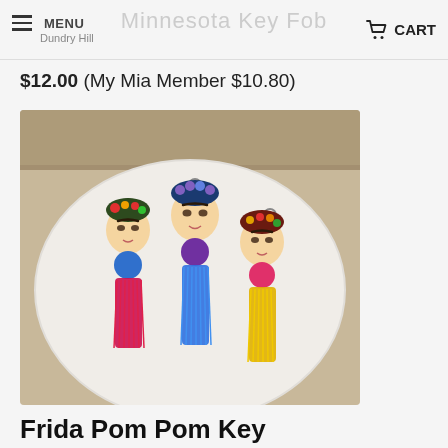MENU | Minnesota Key Fob | Dundry Hill | CART
$12.00 (My Mia Member $10.80)
[Figure (photo): Three Frida Kahlo-inspired pom pom key chains displayed on a white plate. Left figure has blue pom pom and pink/red tassel, center has purple pom pom and blue tassel, right has pink pom pom and yellow tassel. All have floral headdresses and key rings at top.]
Frida Pom Pom Key Chain